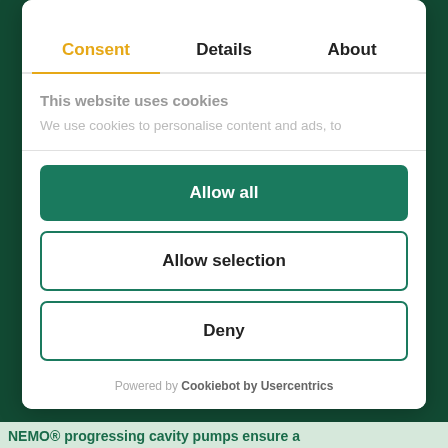Consent | Details | About
This website uses cookies
We use cookies to personalise content and ads, to
Allow all
Allow selection
Deny
Powered by Cookiebot by Usercentrics
NEMO® progressing cavity pumps ensure a